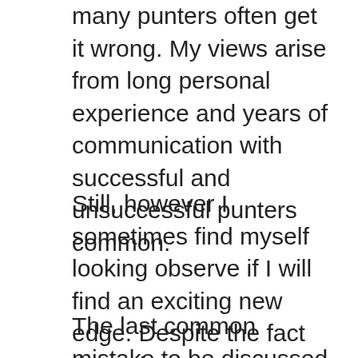many punters often get it wrong. My views arise from long personal experience and years of communication with successful and unsuccessful punters common.
Still, however I sometimes find myself looking observe if I will find an exciting new edge. Despite the fact that edges are rare, there an abundance of betting systems which usually are sold within the promise of virtually never displacing. One guy, Dr. Jay, has introduced what he calls an infallible system for golf ball. He says it never loses. The claim may be that it is mathematically impossible for it to drop.
The last common mistake to be discussed isn't keeping your personal own personal betting